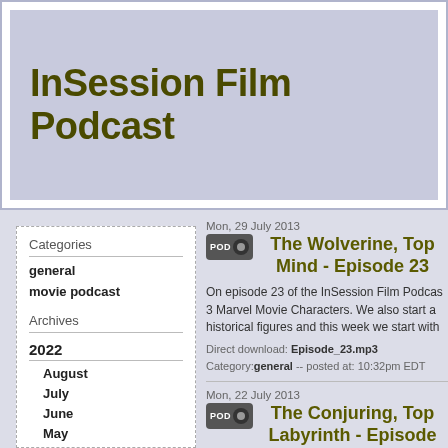InSession Film Podcast
Categories
general
movie podcast
Archives
2022
August
July
June
May
April
March
February
January
2021
December
November
October
September
Mon, 29 July 2013
The Wolverine, Top Mind - Episode 23
On episode 23 of the InSession Film Podcast, 3 Marvel Movie Characters. We also start a historical figures and this week we start with
Direct download: Episode_23.mp3
Category:general -- posted at: 10:32pm EDT
Mon, 22 July 2013
The Conjuring, Top Labyrinth - Episode
This week on the InSession Film Podcast, w discuss our Top 3 Horror/Thrillers that is bas our review of Pan's Labyrinth and have a fu movies.
Direct download: Episode_22.mp3
Category:general -- posted at: 6:11pm EDT